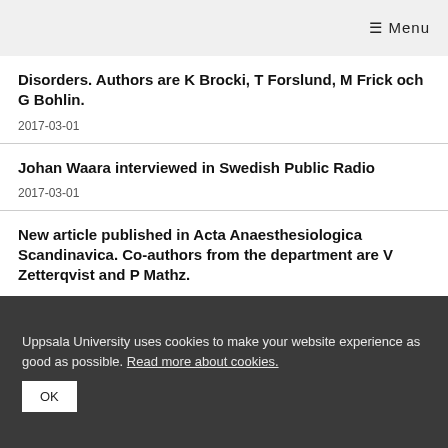≡ Menu
Disorders. Authors are K Brocki, T Forslund, M Frick och G Bohlin.
2017-03-01
Johan Waara interviewed in Swedish Public Radio
2017-03-01
New article published in Acta Anaesthesiologica Scandinavica. Co-authors from the department are V Zetterqvist and P Mathz.
Uppsala University uses cookies to make your website experience as good as possible. Read more about cookies.
OK